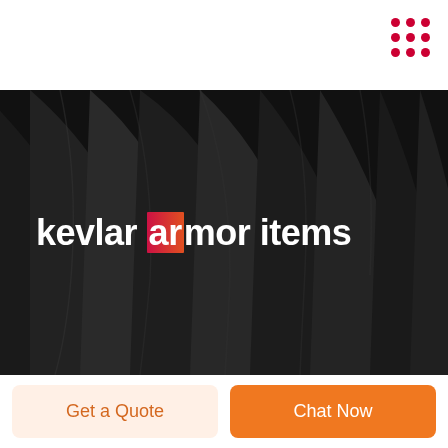[Figure (illustration): Dark abstract background with flowing black fabric-like waves or ridges, used as hero image background]
kevlar armor items
Get a Quote
Chat Now